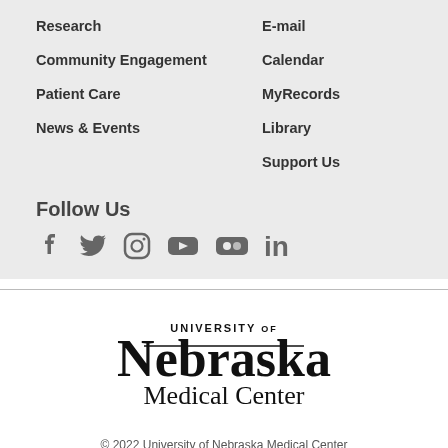Research
Community Engagement
Patient Care
News & Events
E-mail
Calendar
MyRecords
Library
Support Us
Follow Us
[Figure (illustration): Social media icons: Facebook, Twitter, Instagram, YouTube, Flickr, LinkedIn]
[Figure (logo): University of Nebraska Medical Center logo]
© 2022 University of Nebraska Medical Center
University Computer Use Policy | Privacy Statement | Notice of Privacy Practices | Notice of Nondiscrimination